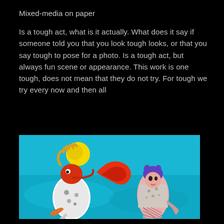Mixed-media on paper
Is a tough act, what is it actually. What does it say if someone told you that you look tough looks, or that you say tough to pose for a photo. Is a tough act, but always fun scene or appearance. This work is one tough, does not mean that they do not try. For tough we try every now and then all
[Figure (illustration): Mixed-media painting on paper showing two cartoon-like figures on a bright turquoise/blue background. Left figure has a red face with yellow wild hair, an elongated red tongue/snout, and a skeletal patterned body crouching down with orange clawed hands. Right figure is a female character with purple hair, wearing a spotted/patterned top and fishnet stockings, with an eerie expression. A yellow circle (sun or moon) is in the upper left, and a red curved shape floats between the two figures.]